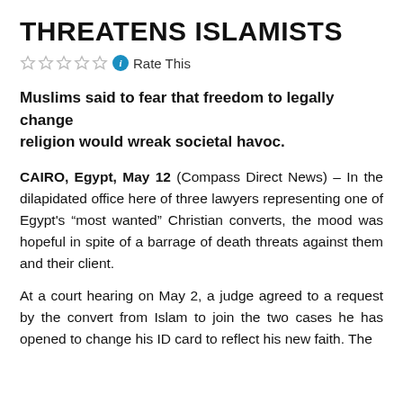THREATENS ISLAMISTS
☆☆☆☆☆ ⓘ Rate This
Muslims said to fear that freedom to legally change religion would wreak societal havoc.
CAIRO, Egypt, May 12 (Compass Direct News) – In the dilapidated office here of three lawyers representing one of Egypt's "most wanted" Christian converts, the mood was hopeful in spite of a barrage of death threats against them and their client.
At a court hearing on May 2, a judge agreed to a request by the convert from Islam to join the two cases he has opened to change his ID card to reflect his new faith. The